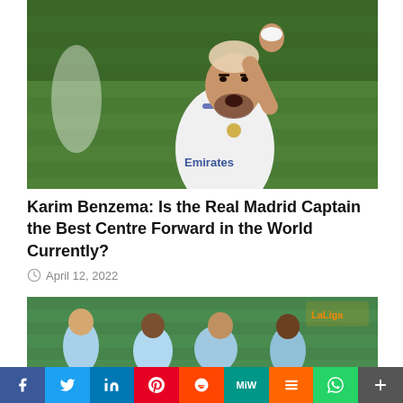[Figure (photo): Karim Benzema in white Real Madrid Emirates jersey, arm raised in celebration on a football pitch with green grass background]
Karim Benzema: Is the Real Madrid Captain the Best Centre Forward in the World Currently?
April 12, 2022
[Figure (photo): Football match scene with players in light blue jerseys celebrating, La Liga branding visible in background]
Social share buttons: Facebook, Twitter, LinkedIn, Pinterest, Reddit, MeWe, Mix, WhatsApp, More